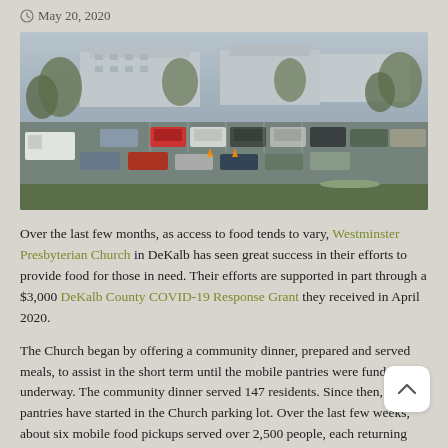May 20, 2020
[Figure (photo): Aerial/elevated view of a church parking lot filled with cars on a rainy day, with apartment buildings visible in the background and trees surrounding the area.]
Over the last few months, as access to food tends to vary, Westminster Presbyterian Church in DeKalb has seen great success in their efforts to provide food for those in need. Their efforts are supported in part through a $3,000 DeKalb County COVID-19 Response Grant they received in April 2020.
The Church began by offering a community dinner, prepared and served meals, to assist in the short term until the mobile pantries were funded and underway. The community dinner served 147 residents. Since then, mobile pantries have started in the Church parking lot. Over the last few weeks, about six mobile food pickups served over 2,500 people, each returning home with approximately 40lbs of food.
Additional items purchased with the grant dollars include safety